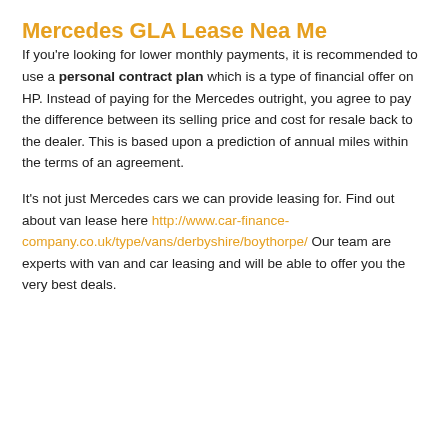Mercedes GLA Lease Nea Me
If you're looking for lower monthly payments, it is recommended to use a personal contract plan which is a type of financial offer on HP. Instead of paying for the Mercedes outright, you agree to pay the difference between its selling price and cost for resale back to the dealer. This is based upon a prediction of annual miles within the terms of an agreement.
It's not just Mercedes cars we can provide leasing for. Find out about van lease here http://www.car-finance-company.co.uk/type/vans/derbyshire/boythorpe/ Our team are experts with van and car leasing and will be able to offer you the very best deals.